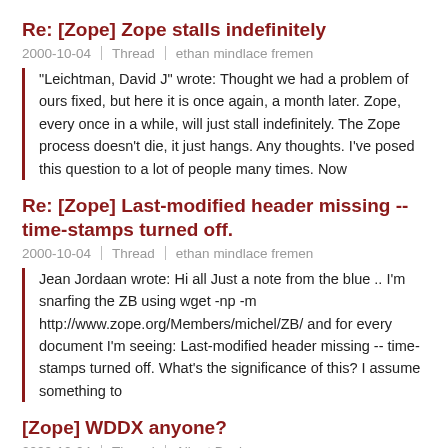Re: [Zope] Zope stalls indefinitely
2000-10-04 | Thread | ethan mindlace fremen
"Leichtman, David J" wrote: Thought we had a problem of ours fixed, but here it is once again, a month later. Zope, every once in a while, will just stall indefinitely. The Zope process doesn't die, it just hangs. Any thoughts. I've posed this question to a lot of people many times. Now
Re: [Zope] Last-modified header missing -- time-stamps turned off.
2000-10-04 | Thread | ethan mindlace fremen
Jean Jordaan wrote: Hi all Just a note from the blue .. I'm snarfing the ZB using wget -np -m http://www.zope.org/Members/michel/ZB/ and for every document I'm seeing: Last-modified header missing -- time-stamps turned off. What's the significance of this? I assume something to
[Zope] WDDX anyone?
2000-10-04 | Thread | Albert Boulanger
Has anyone considered WDDX for Zope? This seems like a nice next step to exchanging data beyond RSS, but not as